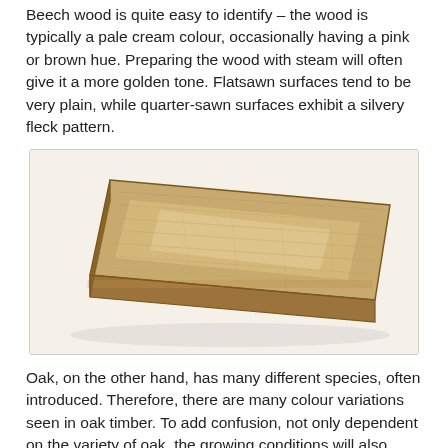Beech wood is quite easy to identify – the wood is typically a pale cream colour, occasionally having a pink or brown hue. Preparing the wood with steam will often give it a more golden tone. Flatsawn surfaces tend to be very plain, while quarter-sawn surfaces exhibit a silvery fleck pattern.
[Figure (photo): A rectangular piece of light-coloured wood (likely beech or oak) shown at an angle, displaying the flat top surface with visible wood grain texture and the thickness of the board. The wood has a pale cream/light tan colour.]
Oak, on the other hand, has many different species, often introduced. Therefore, there are many colour variations seen in oak timber. To add confusion, not only dependent on the variety of oak, the growing conditions will also influence the